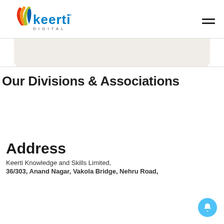[Figure (logo): Keerti Digital logo with colorful fan/wave icon and blue bold text 'keerti' with 'DIGITAL' subtitle]
[Figure (illustration): Decorative curved light beige/gray shape at top of content area]
Our Divisions & Associations
Address
Keerti Knowledge and Skills Limited,
36/303, Anand Nagar, Vakola Bridge, Nehru Road,